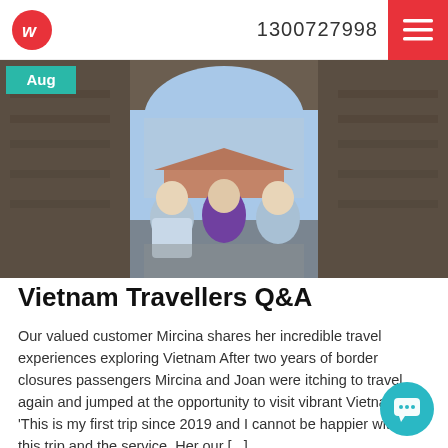1300727998
[Figure (photo): Three women sitting under a large stone archway at a historic Vietnamese temple/monument. One woman in a blue top on the left, one in a purple dress in the center, one in a light blue top on the right. Tiled roof and blue sky visible through the arch. 'Aug' badge overlay in teal top-left.]
Vietnam Travellers Q&A
Our valued customer Mircina shares her incredible travel experiences exploring Vietnam After two years of border closures passengers Mircina and Joan were itching to travel again and jumped at the opportunity to visit vibrant Vietnam. 'This is my first trip since 2019 and I cannot be happier with this trip and the service. Here our [...]